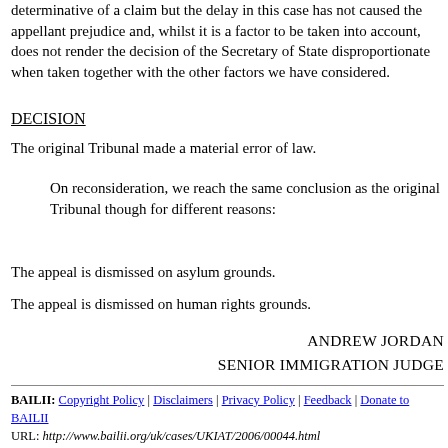determinative of a claim but the delay in this case has not caused the appellant prejudice and, whilst it is a factor to be taken into account, does not render the decision of the Secretary of State disproportionate when taken together with the other factors we have considered.
DECISION
The original Tribunal made a material error of law.
On reconsideration, we reach the same conclusion as the original Tribunal though for different reasons:
The appeal is dismissed on asylum grounds.
The appeal is dismissed on human rights grounds.
ANDREW JORDAN
SENIOR IMMIGRATION JUDGE
BAILII: Copyright Policy | Disclaimers | Privacy Policy | Feedback | Donate to BAILII
URL: http://www.bailii.org/uk/cases/UKIAT/2006/00044.html